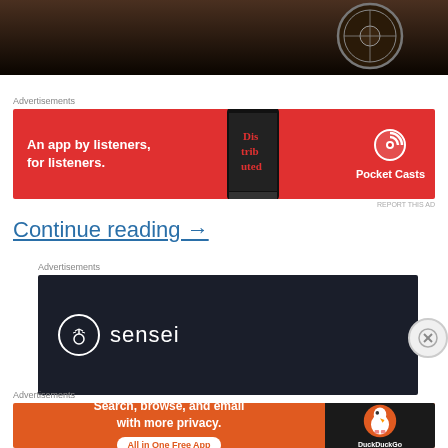[Figure (photo): Partial photo of a person wearing a dark jacket with a circular badge/emblem visible on the right side, cropped at top of page]
Advertisements
[Figure (screenshot): Pocket Casts advertisement: red banner with text 'An app by listeners, for listeners.' and Pocket Casts logo, featuring a phone showing 'Dis trib uted' app]
REPORT THIS AD
Continue reading →
Advertisements
[Figure (screenshot): Sensei advertisement: dark navy banner with Sensei logo (tree icon in circle) and text 'sensei']
Advertisements
[Figure (screenshot): DuckDuckGo advertisement: orange/dark banner with text 'Search, browse, and email with more privacy. All in One Free App' and DuckDuckGo duck logo on dark right panel]